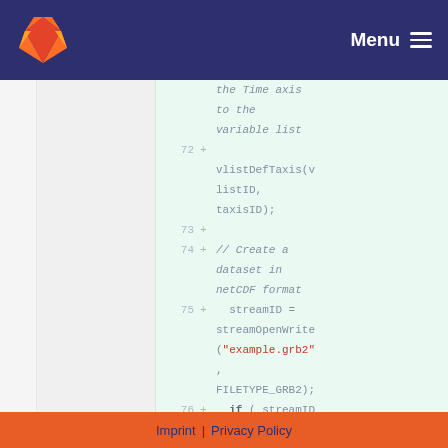Menu
code diff showing lines 72-77 of a C source file with vlistDefTaxis, streamOpenWrite, and conditional check
Imprint | Privacy Policy